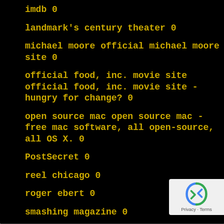imdb 0
landmark's century theater 0
michael moore official michael moore site 0
official food, inc. movie site official food, inc. movie site - hungry for change? 0
open source mac open source mac - free mac software, all open-source, all OS X. 0
PostSecret 0
reel chicago 0
roger ebert 0
smashing magazine 0
tim burton 0